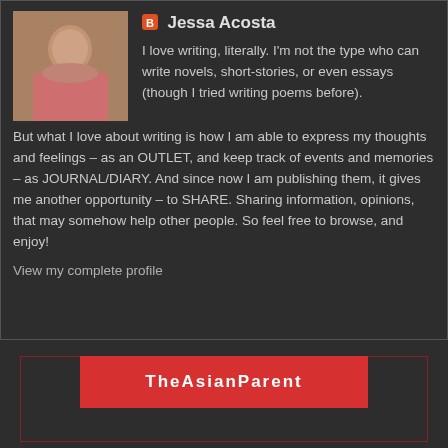[Figure (photo): Profile photo of Jessa Acosta, a young woman in a pink top]
Jessa Acosta
I love writing, literally. I'm not the type who can write novels, short-stories, or even essays (though I tried writing poems before). But what I love about writing is how I am able to express my thoughts and feelings – as an OUTLET, and keep track of events and memories – as JOURNAL/DIARY. And since now I am publishing them, it gives me another opportunity – to SHARE. Sharing information, opinions, that may somehow help other people. So feel free to browse, and enjoy!
View my complete profile
TheAsianParent